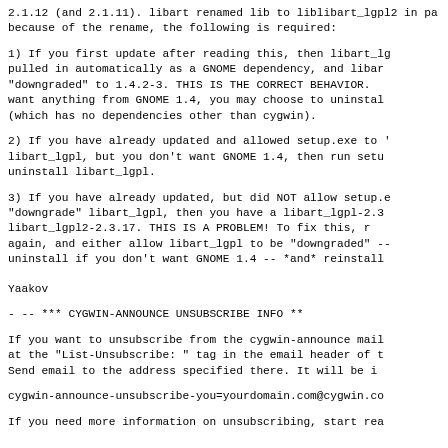2.1.12 (and 2.1.11).  libart renamed lib to liblibart_lgpl2 in pa because of the rename, the following is required:
1) If you first update after reading this, then libart_lg pulled in automatically as a GNOME dependency, and libar "downgraded" to 1.4.2-3.  THIS IS THE CORRECT BEHAVIOR. want anything from GNOME 1.4, you may choose to uninstal (which has no dependencies other than cygwin).
2) If you have already updated and allowed setup.exe to libart_lgpl, but you don't want GNOME 1.4, then run setu uninstall libart_lgpl.
3) If you have already updated, but did NOT allow setup.e "downgrade" libart_lgpl, then you have a libart_lgpl-2.3 libart_lgpl2-2.3.17.  THIS IS A PROBLEM!  To fix this, r again, and either allow libart_lgpl to be "downgraded" - uninstall if you don't want GNOME 1.4 -- *and* reinstall
Yaakov
- --                *** CYGWIN-ANNOUNCE UNSUBSCRIBE INFO **
If you want to unsubscribe from the cygwin-announce mail at the "List-Unsubscribe: " tag in the email header of t Send email to the address specified there.  It will be i
cygwin-announce-unsubscribe-you=yourdomain.com@cygwin.co
If you need more information on unsubscribing, start rea